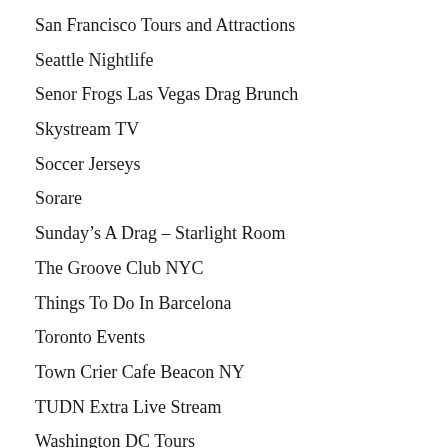San Francisco Tours and Attractions
Seattle Nightlife
Senor Frogs Las Vegas Drag Brunch
Skystream TV
Soccer Jerseys
Sorare
Sunday's A Drag – Starlight Room
The Groove Club NYC
Things To Do In Barcelona
Toronto Events
Town Crier Cafe Beacon NY
TUDN Extra Live Stream
Washington DC Tours
Yankees Vs Red Sox